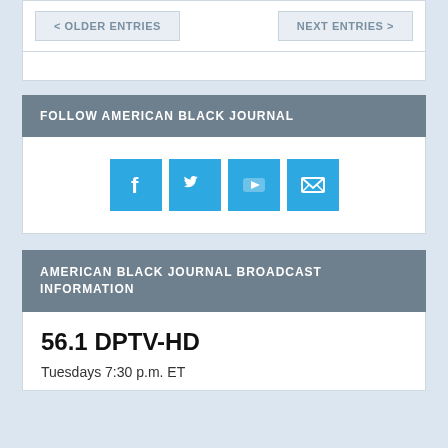< OLDER ENTRIES
NEXT ENTRIES >
FOLLOW AMERICAN BLACK JOURNAL
[Figure (infographic): Four social media icon buttons in blue: Facebook, Twitter, YouTube, and Email/envelope icons]
AMERICAN BLACK JOURNAL BROADCAST INFORMATION
56.1 DPTV-HD
Tuesdays 7:30 p.m. ET